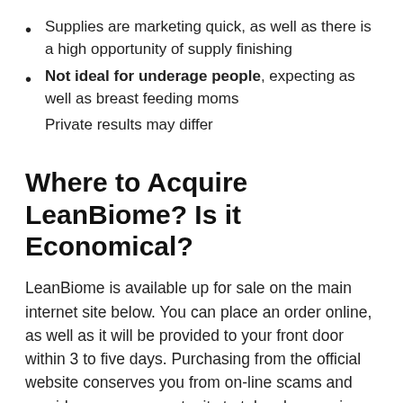Supplies are marketing quick, as well as there is a high opportunity of supply finishing
Not ideal for underage people, expecting as well as breast feeding moms
Private results may differ
Where to Acquire LeanBiome? Is it Economical?
LeanBiome is available up for sale on the main internet site below. You can place an order online, as well as it will be provided to your front door within 3 to five days. Purchasing from the official website conserves you from on-line scams and provides you an opportunity to take pleasure in promos and also discounts.